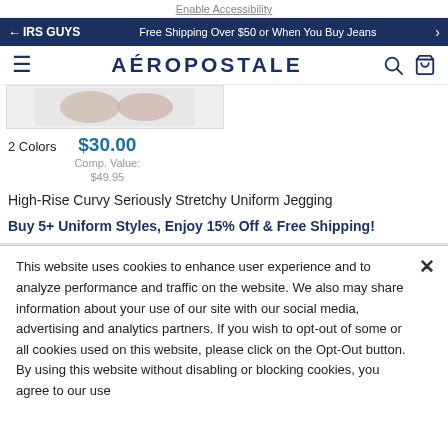Enable Accessibility
IRS GUYS  Free Shipping Over $50 or When You Buy Jeans
AÉROPOSTALE
[Figure (photo): Partial view of product image showing jeggings in light colors]
2 Colors   $30.00   Comp. Value: $49.95
High-Rise Curvy Seriously Stretchy Uniform Jegging
Buy 5+ Uniform Styles, Enjoy 15% Off & Free Shipping!
This website uses cookies to enhance user experience and to analyze performance and traffic on the website. We also may share information about your use of our site with our social media, advertising and analytics partners. If you wish to opt-out of some or all cookies used on this website, please click on the Opt-Out button. By using this website without disabling or blocking cookies, you agree to our use